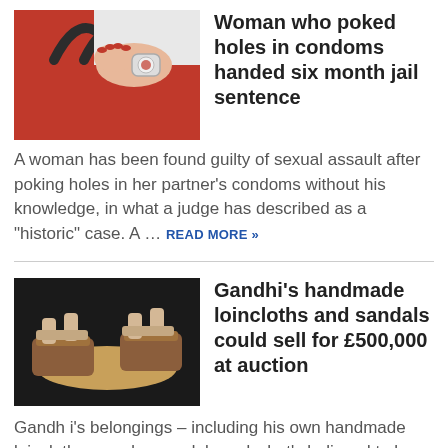[Figure (photo): Woman's hands with red nails holding a condom package near a red handbag with dark handles]
Woman who poked holes in condoms handed six month jail sentence
A woman has been found guilty of sexual assault after poking holes in her partner's condoms without his knowledge, in what a judge has described as a “historic” case. A ... READ MORE »
[Figure (photo): Gandhi's wooden sandals on a dark background, showing handmade leather and wood construction]
Gandhi's handmade loincloths and sandals could sell for £500,000 at auction
Gandh i's belongings – including his own handmade loincloths, wooden sandals and what's believed to be the last photo of him taken alive –